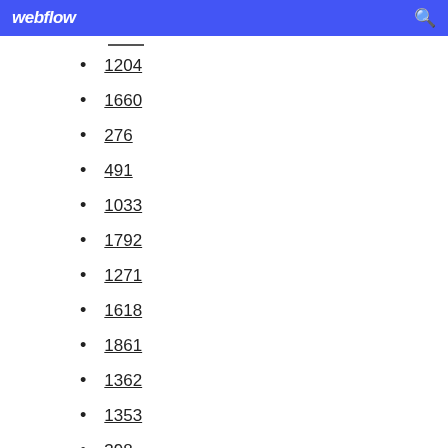webflow
1204
1660
276
491
1033
1792
1271
1618
1861
1362
1353
398